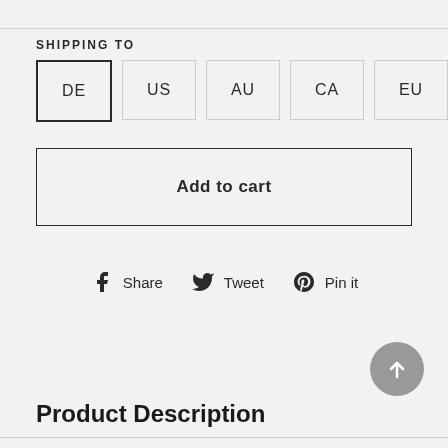SHIPPING TO
DE | US | AU | CA | EU | Other
Add to cart
Share  Tweet  Pin it
Product Description